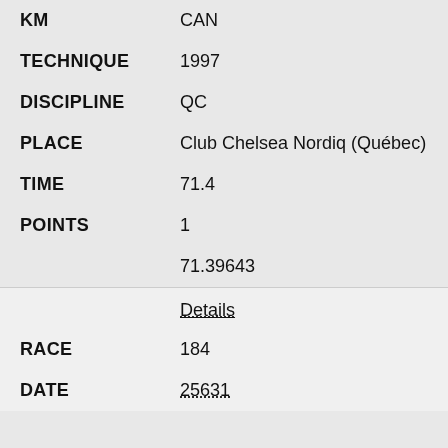KM: CAN
TECHNIQUE: 1997
DISCIPLINE: QC
PLACE: Club Chelsea Nordiq (Québec)
TIME: 71.4
POINTS: 1
71.39643
Details
RACE: 184
DATE: 25631